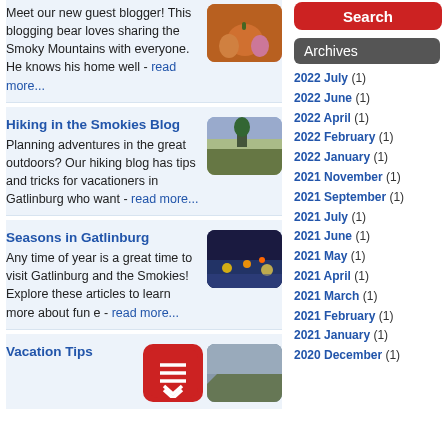Meet our new guest blogger! This blogging bear loves sharing the Smoky Mountains with everyone. He knows his home well - read more...
[Figure (photo): Pumpkin photo thumbnail]
Hiking in the Smokies Blog
Planning adventures in the great outdoors? Our hiking blog has tips and tricks for vacationers in Gatlinburg who want - read more...
[Figure (photo): Field/outdoor landscape thumbnail]
Seasons in Gatlinburg
Any time of year is a great time to visit Gatlinburg and the Smokies! Explore these articles to learn more about fun e - read more...
[Figure (photo): Night city lights thumbnail]
Vacation Tips
[Figure (screenshot): Red app icon with menu lines]
[Figure (photo): Mountain/landscape thumbnail]
Search (button)
Archives
2022 July (1)
2022 June (1)
2022 April (1)
2022 February (1)
2022 January (1)
2021 November (1)
2021 September (1)
2021 July (1)
2021 June (1)
2021 May (1)
2021 April (1)
2021 March (1)
2021 February (1)
2021 January (1)
2020 December (1)